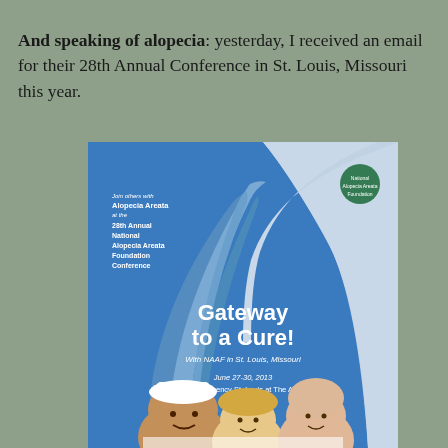And speaking of alopecia: yesterday, I received an email for their 28th Annual Conference in St. Louis, Missouri this year.
[Figure (illustration): Conference poster for the 28th Annual National Alopecia Areata Foundation Conference. Features St. Louis Gateway Arch on a blue sky background with the text 'Gateway to a Cure! With NAAF in St. Louis, Missouri. June 27-30, 2013. Hyatt Regency St. Louis at The Arch.' Shows three children in the foreground. NAAF logo in top right corner.]